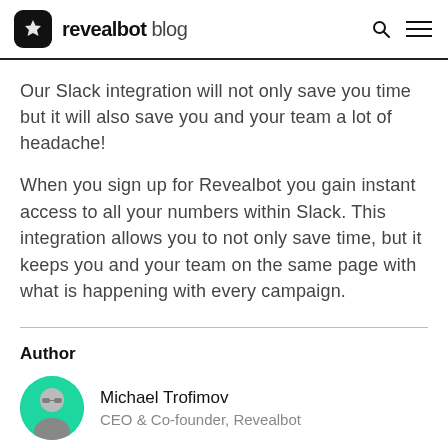revealbot blog
Our Slack integration will not only save you time but it will also save you and your team a lot of headache!
When you sign up for Revealbot you gain instant access to all your numbers within Slack. This integration allows you to not only save time, but it keeps you and your team on the same page with what is happening with every campaign.
Author
Michael Trofimov
CEO & Co-founder, Revealbot